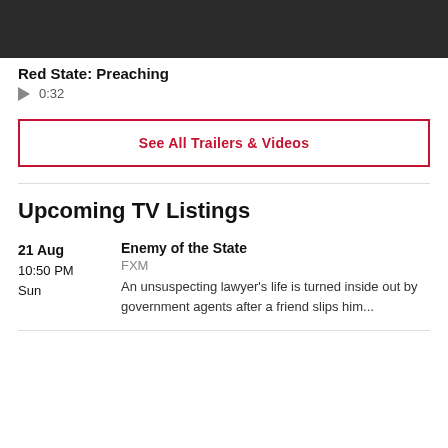[Figure (photo): Dark screenshot thumbnail from a video, showing a person in low lighting]
Red State: Preaching
▶ 0:32
See All Trailers & Videos
Upcoming TV Listings
21 Aug
10:50 PM
Sun
Enemy of the State
FXM
An unsuspecting lawyer's life is turned inside out by government agents after a friend slips him...